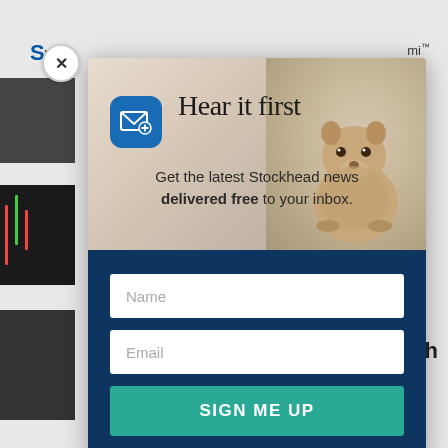[Figure (screenshot): Website background showing partial Stockhead page with thumbnails and logo]
Hear it first
Get the latest Stockhead news delivered free to your inbox.
Name
Email
SIGN ME UP